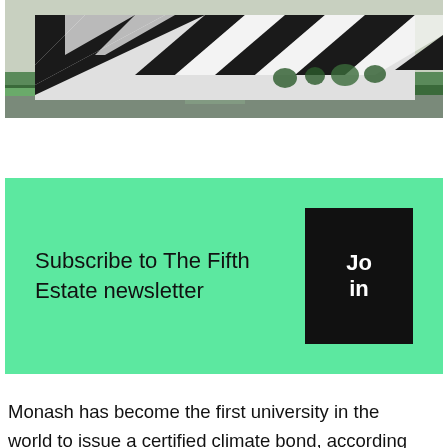[Figure (photo): Aerial/ground-level photo of Monash University building with striking angular black-and-white patterned facade and green landscaping in the foreground]
Subscribe to The Fifth Estate newsletter
Monash has become the first university in the world to issue a certified climate bond, according to the Climate Bonds Initiative, tapping the US private placement market for $218 million to finance sustainability and clean energy projects on campus.